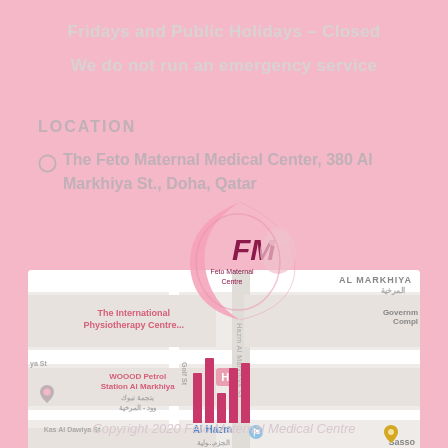Fridays and Public Holidays – Closed
We do not run an emergency service
LOCATION
The Feto Maternal Medical Center, 380 Al Markhiya St., Doha, Qatar
[Figure (logo): FM Feto Maternal Centre logo with crescent moon shape in pink and dark pink]
[Figure (map): Google Maps view showing Al Markhiya St, Doha area with The International Physiotherapy Centre, WOOOD Petrol Station Al Markhiya, Al Hazm, and Sasso landmarks visible]
Copyright 2020 Feto Maternal Medical Centre